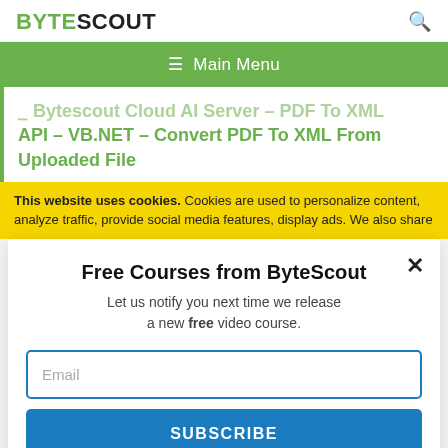BYTESCOUT
☰ Main Menu
Bytescout Cloud AI Server – PDF To XML API – VB.NET – Convert PDF To XML From Uploaded File
This website uses cookies. Cookies are used to personalize content, analyze traffic, provide social media features, display ads. We also share
Free Courses from ByteScout
Let us notify you next time we release a new free video course.
Email
SUBSCRIBE